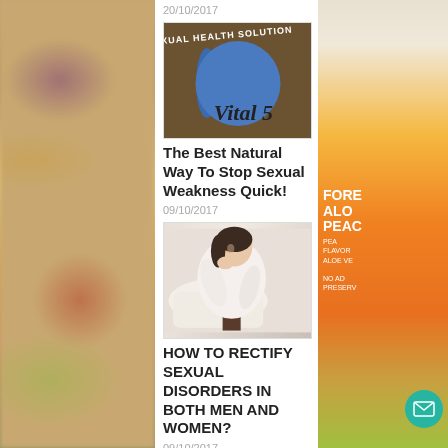20/10/2017
[Figure (photo): Sexual Health Solution book cover with blue circle and 'Vital 5' text on brown background]
The Best Natural Way To Stop Sexual Weakness Quick!
09/10/2017
[Figure (photo): Woman in white clothes sitting on a bed with head in hands]
HOW TO RECTIFY SEXUAL DISORDERS IN BOTH MEN AND WOMEN?
09/10/2017
[Figure (photo): For Men banner with NEW label and website URL]